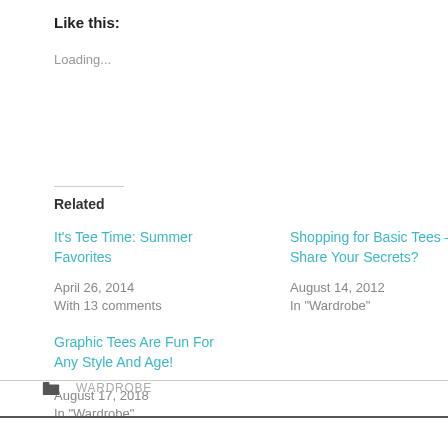Like this:
Loading...
Related
It's Tee Time: Summer Favorites
April 26, 2014
With 13 comments
Shopping for Basic Tees – Share Your Secrets?
August 14, 2012
In "Wardrobe"
Graphic Tees Are Fun For Any Style And Age!
August 17, 2018
In "Wardrobe"
WARDROBE